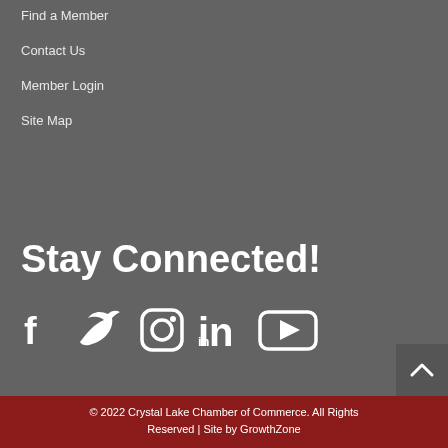Find a Member
Contact Us
Member Login
Site Map
Stay Connected!
[Figure (infographic): Social media icons: Facebook, Twitter, Instagram, LinkedIn, YouTube]
© 2022 Crystal Lake Chamber of Commerce.  All Rights Reserved | Site by GrowthZone